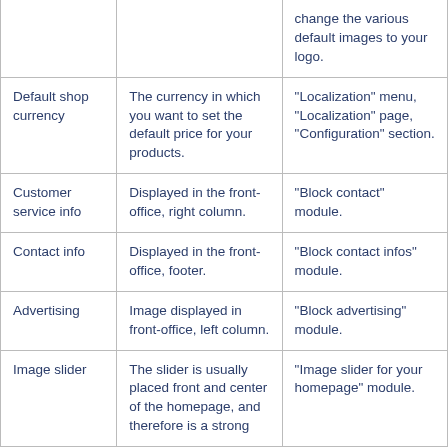|  |  | change the various default images to your logo. |
| Default shop currency | The currency in which you want to set the default price for your products. | "Localization" menu, "Localization" page, "Configuration" section. |
| Customer service info | Displayed in the front-office, right column. | "Block contact" module. |
| Contact info | Displayed in the front-office, footer. | "Block contact infos" module. |
| Advertising | Image displayed in front-office, left column. | "Block advertising" module. |
| Image slider | The slider is usually placed front and center of the homepage, and therefore is a strong | "Image slider for your homepage" module. |